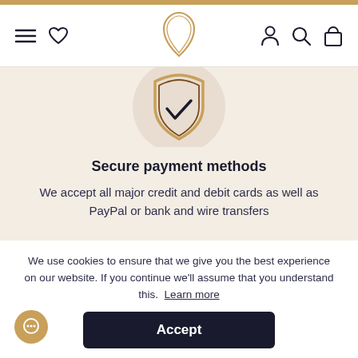Navigation header with menu, heart, logo, account, search, and bag icons
[Figure (illustration): Shield with checkmark icon inside a beige circle, partially visible at top]
Secure payment methods
We accept all major credit and debit cards as well as PayPal or bank and wire transfers
[Figure (illustration): Clock icon inside a beige circle, partially visible at bottom]
We use cookies to ensure that we give you the best experience on our website. If you continue we'll assume that you understand this. Learn more
Accept